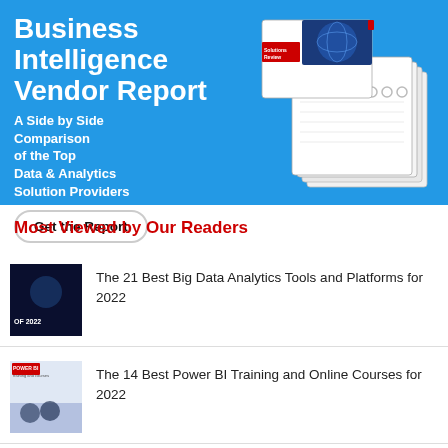[Figure (illustration): Blue banner advertisement for Business Intelligence Vendor Report showing title, subtitle, a button, and stacked report cover images on the right]
Most Viewed by Our Readers
The 21 Best Big Data Analytics Tools and Platforms for 2022
The 14 Best Power BI Training and Online Courses for 2022